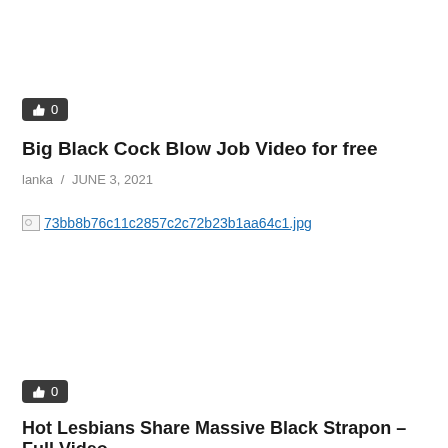[Figure (other): Like/thumbs-up button showing count 0]
Big Black Cock Blow Job Video for free
lanka / JUNE 3, 2021
[Figure (other): Broken image link: 73bb8b76c11c2857c2c72b23b1aa64c1.jpg]
[Figure (other): Like/thumbs-up button showing count 0]
Hot Lesbians Share Massive Black Strapon – Full Video